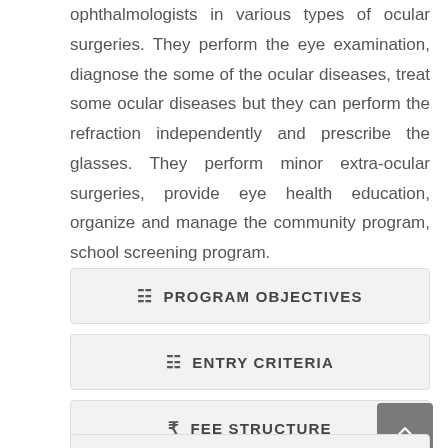ophthalmologists in various types of ocular surgeries. They perform the eye examination, diagnose the some of the ocular diseases, treat some ocular diseases but they can perform the refraction independently and prescribe the glasses. They perform minor extra-ocular surgeries, provide eye health education, organize and manage the community program, school screening program.
PROGRAM OBJECTIVES
ENTRY CRITERIA
FEE STRUCTURE